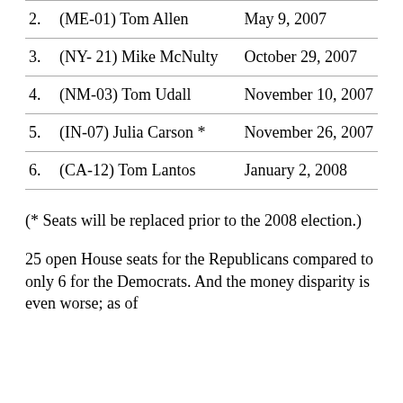| # | Name | Date |
| --- | --- | --- |
| 2. | (ME-01) Tom Allen | May 9, 2007 |
| 3. | (NY- 21) Mike McNulty | October 29, 2007 |
| 4. | (NM-03) Tom Udall | November 10, 2007 |
| 5. | (IN-07) Julia Carson * | November 26, 2007 |
| 6. | (CA-12) Tom Lantos | January 2, 2008 |
(* Seats will be replaced prior to the 2008 election.)
25 open House seats for the Republicans compared to only 6 for the Democrats. And the money disparity is even worse; as of